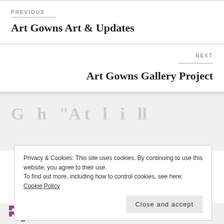PREVIOUS
Art Gowns Art & Updates
NEXT
Art Gowns Gallery Project
Privacy & Cookies: This site uses cookies. By continuing to use this website, you agree to their use.
To find out more, including how to control cookies, see here: Cookie Policy
Close and accept
Ralph